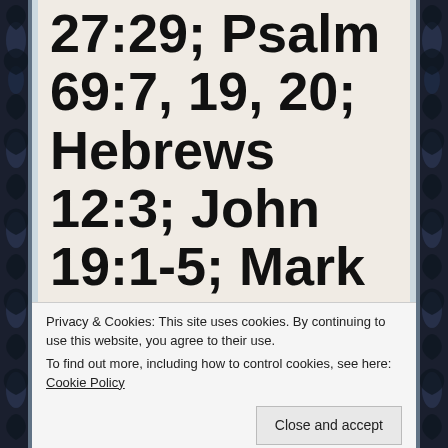27:29; Psalm 69:7, 19, 20; Hebrews 12:3; John 19:1-5; Mark 15:17.  by mrmatthewhenry
This Affection is offered up to the throne of OUR LORD GOD AND SAVIOUR JESUS CHRIST.
I worship and adore You, O Christ my Beloved, together with Your Father and the Holy Spirit, for
Privacy & Cookies: This site uses cookies. By continuing to use this website, you agree to their use.
To find out more, including how to control cookies, see here: Cookie Policy
Close and accept
BELOVED'